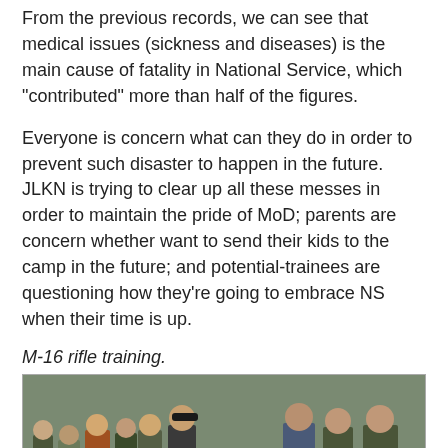From the previous records, we can see that medical issues (sickness and diseases) is the main cause of fatality in National Service, which "contributed" more than half of the figures.
Everyone is concern what can they do in order to prevent such disaster to happen in the future. JLKN is trying to clear up all these messes in order to maintain the pride of MoD; parents are concern whether want to send their kids to the camp in the future; and potential-trainees are questioning how they're going to embrace NS when their time is up.
M-16 rifle training.
[Figure (photo): Military personnel and trainees during M-16 rifle training. A trainee in camouflage uniform and green beret lies prone aiming a rifle, while a senior officer in blue striped uniform and beret leans over him. Several uniformed military and civilian observers stand in the background on a grassy field.]